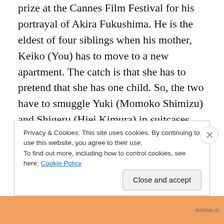prize at the Cannes Film Festival for his portrayal of Akira Fukushima. He is the eldest of four siblings when his mother, Keiko (You) has to move to a new apartment. The catch is that she has to pretend that she has one child. So, the two have to smuggle Yuki (Momoko Shimizu) and Shigeru (Hiei Kimura) in suitcases into the apartment and have another sibling, Kyoko (Ayu Kitaura) come in by train.
When the family is all together, Keiko has to explain to the little ones that they cannot leave the apartment or make any noises to expose them. None of the kids go to school, so that would not be a problem. Akira looks after his
Privacy & Cookies: This site uses cookies. By continuing to use this website, you agree to their use.
To find out more, including how to control cookies, see here: Cookie Policy